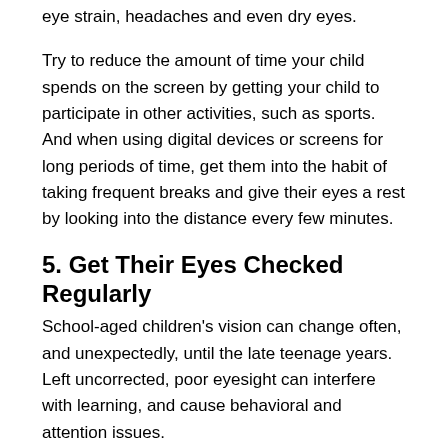eye strain, headaches and even dry eyes.
Try to reduce the amount of time your child spends on the screen by getting your child to participate in other activities, such as sports. And when using digital devices or screens for long periods of time, get them into the habit of taking frequent breaks and give their eyes a rest by looking into the distance every few minutes.
5. Get Their Eyes Checked Regularly
School-aged children's vision can change often, and unexpectedly, until the late teenage years. Left uncorrected, poor eyesight can interfere with learning, and cause behavioral and attention issues.